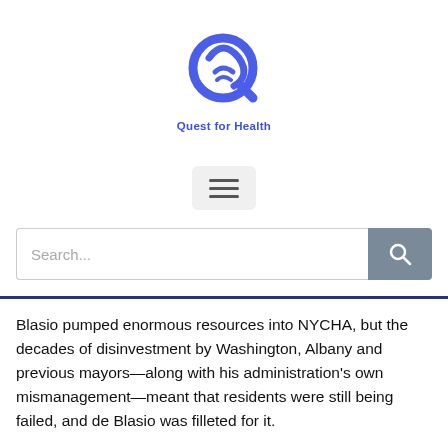[Figure (logo): Quest for Health logo — circular blue stylized Q icon with text 'Quest for Health' below in blue]
[Figure (other): Hamburger menu button — three horizontal lines on a light grey rounded rectangle background]
[Figure (other): Search bar with placeholder text 'Search...' and a dark grey search button with magnifying glass icon]
Blasio pumped enormous resources into NYCHA, but the decades of disinvestment by Washington, Albany and previous mayors—along with his administration's own mismanagement—meant that residents were still being failed, and de Blasio was filleted for it.
The pandemic, of course, dominated his second term. De